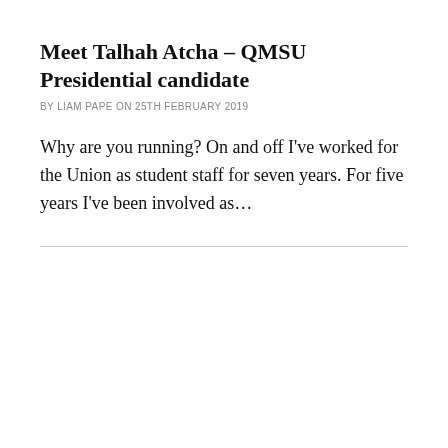Meet Talhah Atcha – QMSU Presidential candidate
BY LIAM PAPE ON 25TH FEBRUARY 2019
Why are you running? On and off I've worked for the Union as student staff for seven years. For five years I've been involved as…